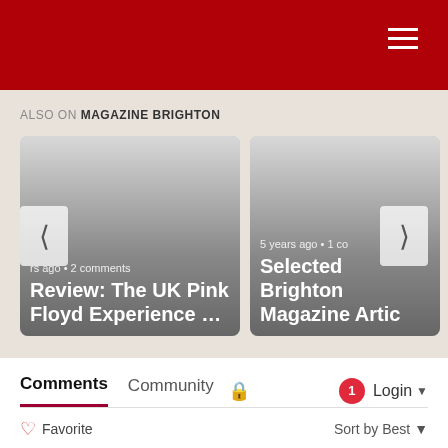[Figure (screenshot): Red navigation header bar with hamburger menu icon on the right]
ALSO ON MAGAZINE BRIGHTON
[Figure (screenshot): Two article cards side by side. Left card: '...rs ago • 2 comments' meta, title 'Review: The UK Pink Floyd Experience ...'. Right card: '5 years ago • 1 co...' meta, title 'Selected Brighton Magazine Artic...'. Navigation arrows on left and right sides.]
Comments	Community	🔒	1	Login ▾
♡ Favorite	Sort by Best ▾